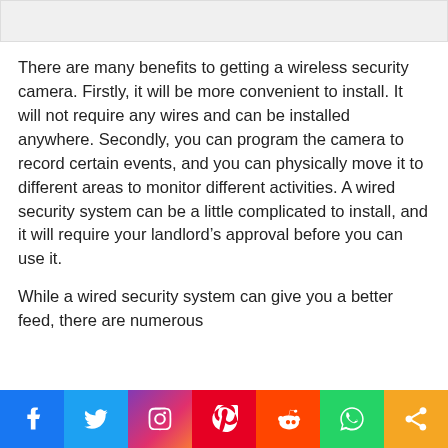[Figure (other): Top image bar placeholder (partial image visible)]
There are many benefits to getting a wireless security camera. Firstly, it will be more convenient to install. It will not require any wires and can be installed anywhere. Secondly, you can program the camera to record certain events, and you can physically move it to different areas to monitor different activities. A wired security system can be a little complicated to install, and it will require your landlord’s approval before you can use it.
While a wired security system can give you a better feed, there are numerous
[Figure (infographic): Social media sharing bar with icons: Facebook, Twitter, Instagram, Pinterest, Reddit, WhatsApp, Share]